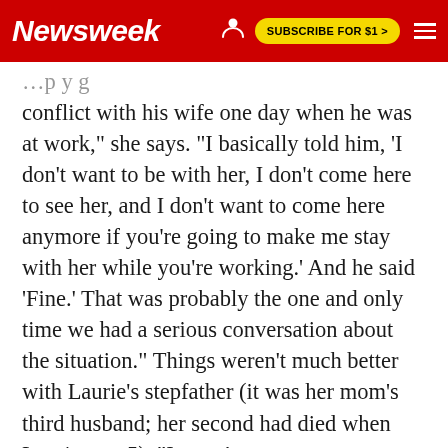Newsweek | SUBSCRIBE FOR $1 >
conflict with his wife one day when he was at work," she says. "I basically told him, 'I don't want to be with her, I don't come here to see her, and I don't want to come here anymore if you're going to make me stay with her while you're working.' And he said 'Fine.' That was probably the one and only time we had a serious conversation about the situation." Things weren't much better with Laurie's stepfather (it was her mom's third husband; her second had died when Laurie was 5). "I wasn't